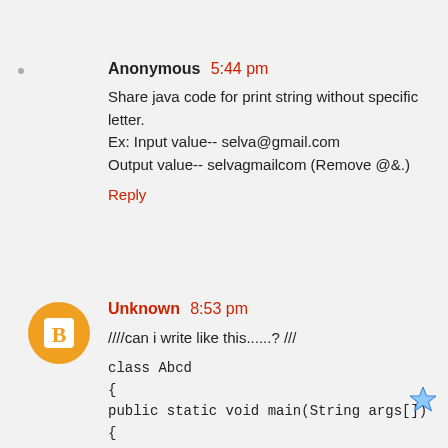Anonymous 5:44 pm
Share java code for print string without specific letter.
Ex: Input value-- selva@gmail.com
Output value-- selvagmailcom (Remove @&.)
Reply
[Figure (illustration): Orange circle avatar with white blogger 'B' icon]
Unknown 8:53 pm
////can i write like this......? ///
class Abcd
{
public static void main(String args[])
{
int i=0,j=0;
char                                                                    a1[]= 
{'a','b','c','d','e','f','g','h','i','j','k','l','m','n','o','p','q','r','s','t','u','v','w
','x','y','z'};